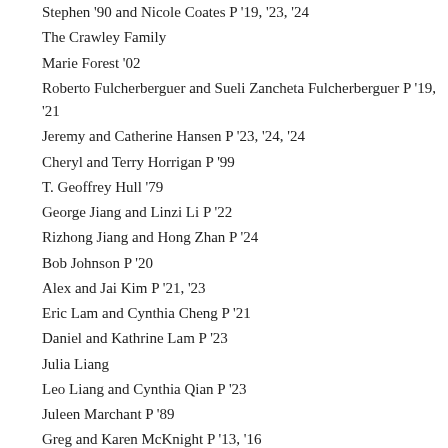Stephen '90 and Nicole Coates P '19, '23, '24
The Crawley Family
Marie Forest '02
Roberto Fulcherberguer and Sueli Zancheta Fulcherberguer P '19, '21
Jeremy and Catherine Hansen P '23, '24, '24
Cheryl and Terry Horrigan P '99
T. Geoffrey Hull '79
George Jiang and Linzi Li P '22
Rizhong Jiang and Hong Zhan P '24
Bob Johnson P '20
Alex and Jai Kim P '21, '23
Eric Lam and Cynthia Cheng P '21
Daniel and Kathrine Lam P '23
Julia Liang
Leo Liang and Cynthia Qian P '23
Juleen Marchant P '89
Greg and Karen McKnight P '13, '16